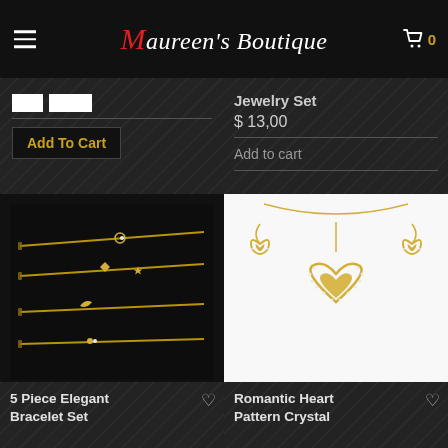Maureen's Boutique — navigation header with menu icon and cart (0 items)
Jewelry Set
$ 13,00
Add to cart
Add To Cart
[Figure (photo): 5 Piece Elegant Bracelet Set — gold chain bracelets with star, moon, crystal charms on dark background]
5 Piece Elegant Bracelet Set
[Figure (photo): Romantic Heart Pattern Crystal jewelry set — gold double-heart pendant necklace with matching drop earrings on white background]
Romantic Heart Pattern Crystal